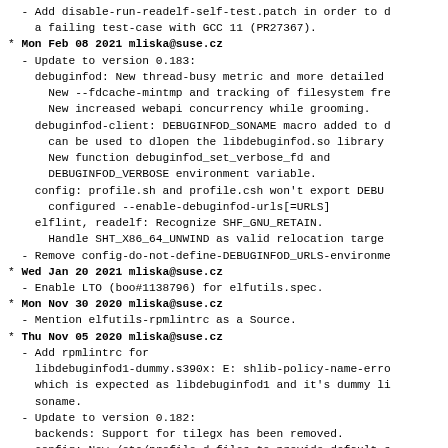- Add disable-run-readelf-self-test.patch in order to d
    a failing test-case with GCC 11 (PR27367).
* Mon Feb 08 2021 mliska@suse.cz
  - Update to version 0.183:
    debuginfod: New thread-busy metric and more detailed
      New --fdcache-mintmp and tracking of filesystem fre
      New increased webapi concurrency while grooming.
    debuginfod-client: DEBUGINFOD_SONAME macro added to d
      can be used to dlopen the libdebuginfod.so library
      New function debuginfod_set_verbose_fd and
      DEBUGINFOD_VERBOSE environment variable.
    config: profile.sh and profile.csh won't export DEBU
      configured --enable-debuginfod-urls[=URLS]
    elflint, readelf: Recognize SHF_GNU_RETAIN.
      Handle SHT_X86_64_UNWIND as valid relocation targe
  - Remove config-do-not-define-DEBUGINFOD_URLS-environme
* Wed Jan 20 2021 mliska@suse.cz
  - Enable LTO (boo#1138796) for elfutils.spec.
* Mon Nov 30 2020 mliska@suse.cz
  - Mention elfutils-rpmlintrc as a Source.
* Thu Nov 05 2020 mliska@suse.cz
  - Add rpmlintrc for
    libdebuginfod1-dummy.s390x: E: shlib-policy-name-erro
    which is expected as libdebuginfod1 and it's dummy li
    soname.
  - Update to version 0.182:
    backends: Support for tilegx has been removed.
    config: New /etc/profile.d files to provide default s
    debuginfod: More efficient package traversal, tolerat
      during scanning. grooming progress is more visible